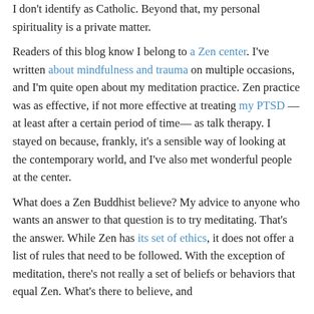I don't identify as Catholic. Beyond that, my personal spirituality is a private matter.
Readers of this blog know I belong to a Zen center. I've written about mindfulness and trauma on multiple occasions, and I'm quite open about my meditation practice. Zen practice was as effective, if not more effective at treating my PTSD —at least after a certain period of time— as talk therapy. I stayed on because, frankly, it's a sensible way of looking at the contemporary world, and I've also met wonderful people at the center.
What does a Zen Buddhist believe? My advice to anyone who wants an answer to that question is to try meditating. That's the answer. While Zen has its set of ethics, it does not offer a list of rules that need to be followed. With the exception of meditation, there's not really a set of beliefs or behaviors that equal Zen. What's there to believe, and